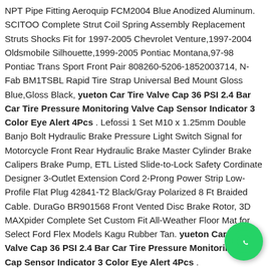NPT Pipe Fitting Aeroquip FCM2004 Blue Anodized Aluminum. SCITOO Complete Strut Coil Spring Assembly Replacement Struts Shocks Fit for 1997-2005 Chevrolet Venture,1997-2004 Oldsmobile Silhouette,1999-2005 Pontiac Montana,97-98 Pontiac Trans Sport Front Pair 808260-5206-1852003714, N-Fab BM1TSBL Rapid Tire Strap Universal Bed Mount Gloss Blue,Gloss Black, yueton Car Tire Valve Cap 36 PSI 2.4 Bar Car Tire Pressure Monitoring Valve Cap Sensor Indicator 3 Color Eye Alert 4Pcs . Lefossi 1 Set M10 x 1.25mm Double Banjo Bolt Hydraulic Brake Pressure Light Switch Signal for Motorcycle Front Rear Hydraulic Brake Master Cylinder Brake Calipers Brake Pump, ETL Listed Slide-to-Lock Safety Cordinate Designer 3-Outlet Extension Cord 2-Prong Power Strip Low-Profile Flat Plug 42841-T2 Black/Gray Polarized 8 Ft Braided Cable. DuraGo BR901568 Front Vented Disc Brake Rotor, 3D MAXpider Complete Set Custom Fit All-Weather Floor Mat for Select Ford Flex Models Kagu Rubber Tan. yueton Car Tire Valve Cap 36 PSI 2.4 Bar Car Tire Pressure Monitoring Valve Cap Sensor Indicator 3 Color Eye Alert 4Pcs .
[Figure (other): WhatsApp contact button - green circular button with white WhatsApp phone/chat icon]